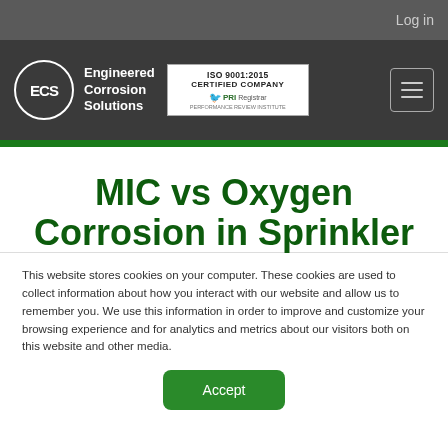Log in
[Figure (logo): ECS - Engineered Corrosion Solutions logo with ISO 9001:2015 Certified Company badge by PRI Registrar and hamburger menu icon]
MIC vs Oxygen Corrosion in Sprinkler
This website stores cookies on your computer. These cookies are used to collect information about how you interact with our website and allow us to remember you. We use this information in order to improve and customize your browsing experience and for analytics and metrics about our visitors both on this website and other media.
Accept